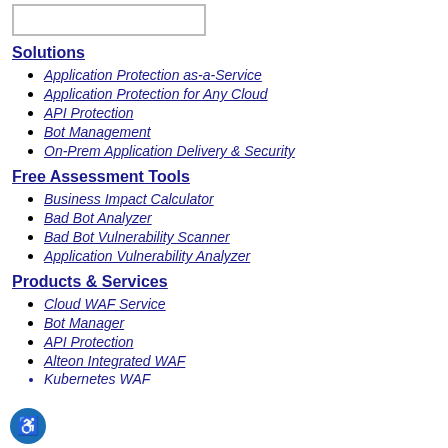[Figure (other): Input box / search field outline]
Solutions
Application Protection as-a-Service
Application Protection for Any Cloud
API Protection
Bot Management
On-Prem Application Delivery & Security
Free Assessment Tools
Business Impact Calculator
Bad Bot Analyzer
Bad Bot Vulnerability Scanner
Application Vulnerability Analyzer
Products & Services
Cloud WAF Service
Bot Manager
API Protection
Alteon Integrated WAF
Kubernetes WAF